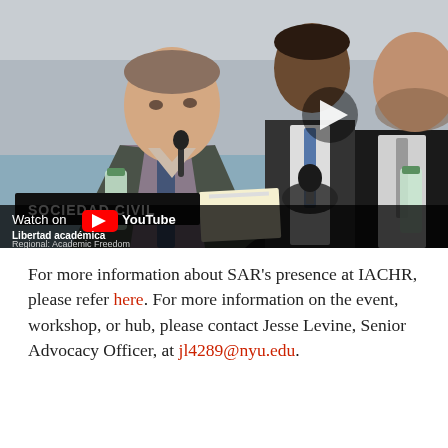[Figure (photo): Video thumbnail showing men in suits seated at a conference table with a nameplate reading 'SOCIEDAD CIVIL'. YouTube play button overlay visible. Bottom bar shows 'Watch on YouTube' and text about 'Libertad académica Regional: Academic Freedom'.]
For more information about SAR's presence at IACHR, please refer here. For more information on the event, workshop, or hub, please contact Jesse Levine, Senior Advocacy Officer, at jl4289@nyu.edu.